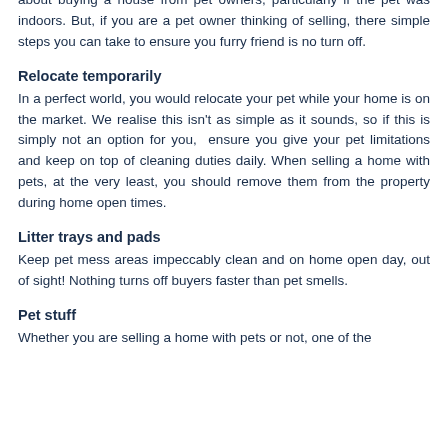about buying a house from pet owners, particularly if the pet was indoors. But, if you are a pet owner thinking of selling, there simple steps you can take to ensure you furry friend is no turn off.
Relocate temporarily
In a perfect world, you would relocate your pet while your home is on the market. We realise this isn't as simple as it sounds, so if this is simply not an option for you,  ensure you give your pet limitations and keep on top of cleaning duties daily. When selling a home with pets, at the very least, you should remove them from the property during home open times.
Litter trays and pads
Keep pet mess areas impeccably clean and on home open day, out of sight! Nothing turns off buyers faster than pet smells.
Pet stuff
Whether you are selling a home with pets or not, one of the